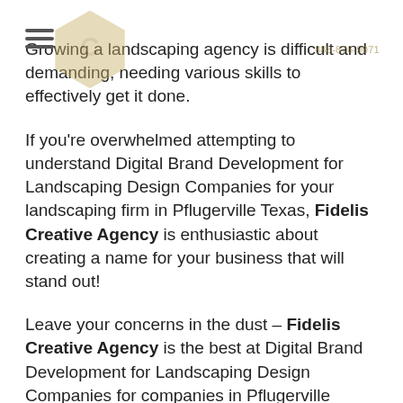[Figure (illustration): Hexagonal watermark logo shape in gold/tan color overlapping the top of the page, with a hamburger menu icon on the left and phone number 888-876-9071 overlaid]
Growing a landscaping agency is difficult and demanding, needing various skills to effectively get it done.
If you're overwhelmed attempting to understand Digital Brand Development for Landscaping Design Companies for your landscaping firm in Pflugerville Texas, Fidelis Creative Agency is enthusiastic about creating a name for your business that will stand out!
Leave your concerns in the dust – Fidelis Creative Agency is the best at Digital Brand Development for Landscaping Design Companies for companies in Pflugerville Texas!